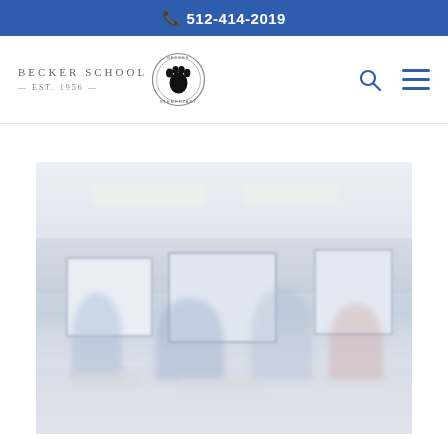512-414-2019
[Figure (logo): Becker School logo with paw print emblem, text reads BECKER SCHOOL est. 1956]
[Figure (photo): Blurred/faded photograph of a school classroom with students at desks and computer screens visible]